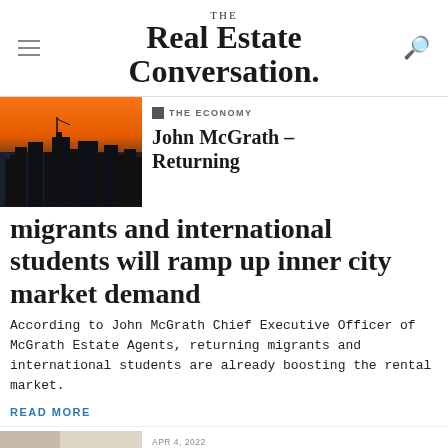THE Real Estate Conversation.
THE ECONOMY
[Figure (photo): City skyline silhouette against an orange sunset sky]
John McGrath – Returning migrants and international students will ramp up inner city market demand
According to John McGrath Chief Executive Officer of McGrath Estate Agents, returning migrants and international students are already boosting the rental market.
READ MORE
APR 4, 2022 THE ECONOMY
[Figure (photo): People sitting at a table reviewing documents together]
John McGrath – What we should